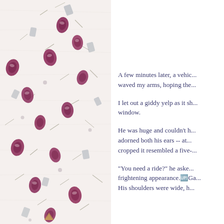[Figure (illustration): Decorative background image with pressed/dried flower petals (deep magenta/burgundy) and thin leaf/grass fragments scattered on a white textured paper background.]
A few minutes later, a vehic... waved my arms, hoping the...
I let out a giddy yelp as it sh... window.
He was huge and couldn't h... adorned both his ears -- at... cropped it resembled a five-...
"You need a ride?" he aske... frightening appearance. Ga... His shoulders were wide, h...